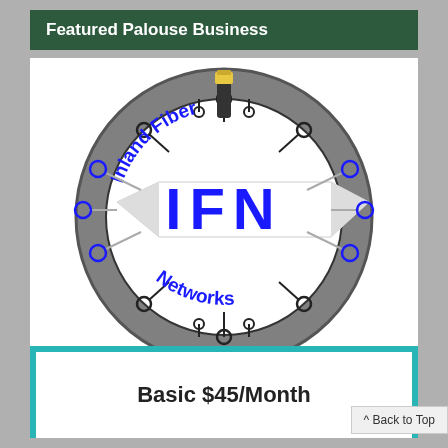Featured Palouse Business
[Figure (logo): Inland Fiber Networks (IFN) circular logo with gray ring, circuit board lines, ethernet cable, and large blue IFN letters on a white banner across the center]
Basic $45/Month